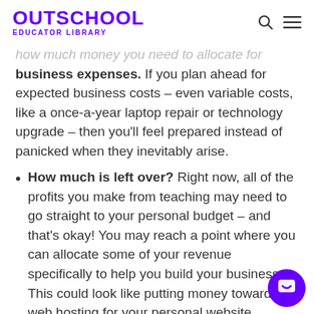OUTSCHOOL EDUCATOR LIBRARY
how much money you need to allocate for business expenses. If you plan ahead for expected business costs – even variable costs, like a once-a-year laptop repair or technology upgrade – then you'll feel prepared instead of panicked when they inevitably arise.
How much is left over? Right now, all of the profits you make from teaching may need to go straight to your personal budget – and that's okay! You may reach a point where you can allocate some of your revenue specifically to help you build your business. This could look like putting money toward web hosting for your personal website, marketing campaigns or those new teaching materials you've had